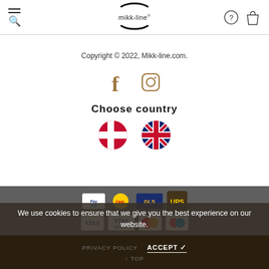mikk-line header with menu, logo, help and bag icons
Copyright © 2022, Mikk-line.com.
[Figure (illustration): Facebook and Instagram social media icons in golden/tan color]
Choose country
[Figure (illustration): Danish flag circle and UK flag circle for country selection]
[Figure (illustration): Payment and shipping logos: PayPal, VISA, VISA Electron, Mastercard, Mobilepay, DHL, GLS, UPS]
We use cookies to ensure that we give you the best experience on our website.
PRIVACY POLICY   ACCEPT ✓   ↑ TOP